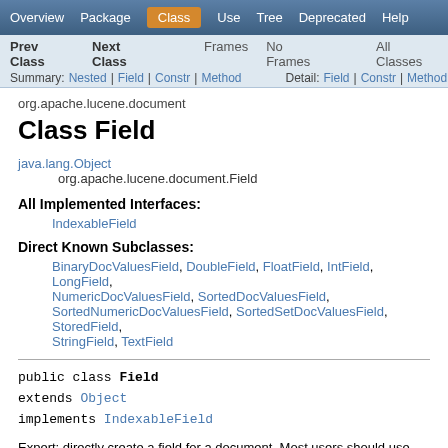Overview | Package | Class | Use | Tree | Deprecated | Help
Prev Class | Next Class | Frames | No Frames | All Classes
Summary: Nested | Field | Constr | Method    Detail: Field | Constr | Method
org.apache.lucene.document
Class Field
java.lang.Object
    org.apache.lucene.document.Field
All Implemented Interfaces:
IndexableField
Direct Known Subclasses:
BinaryDocValuesField, DoubleField, FloatField, IntField, LongField, NumericDocValuesField, SortedDocValuesField, SortedNumericDocValuesField, SortedSetDocValuesField, StoredField, StringField, TextField
public class Field
extends Object
implements IndexableField
Expert: directly create a field for a document. Most users should use one of the sugar subclasses: IntField, LongField, FloatField,